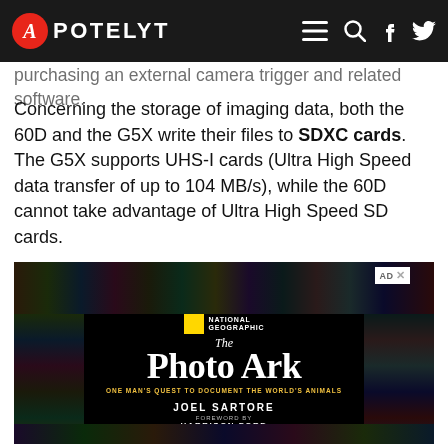APOTELYT
purchasing an external camera trigger and related software.
Concerning the storage of imaging data, both the 60D and the G5X write their files to SDXC cards. The G5X supports UHS-I cards (Ultra High Speed data transfer of up to 104 MB/s), while the 60D cannot take advantage of Ultra High Speed SD cards.
[Figure (photo): National Geographic 'The Photo Ark' book advertisement featuring a collage of animal photos on a black background. Text reads: NATIONAL GEOGRAPHIC, The Photo Ark, ONE MAN'S QUEST TO DOCUMENT THE WORLD'S ANIMALS, JOEL SARTORE, FOREWORD BY HARRISON FORD]